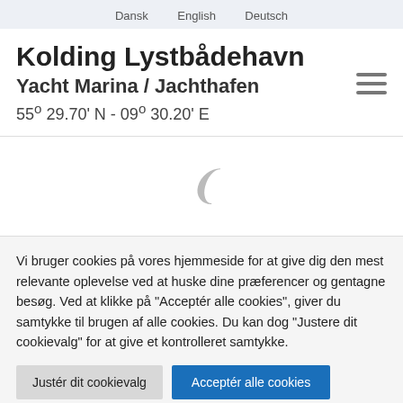Dansk   English   Deutsch
Kolding Lystbådehavn
Yacht Marina / Jachthafen
55° 29.70' N - 09° 30.20' E
[Figure (other): Loading spinner (animated arc/partial circle icon)]
Vi bruger cookies på vores hjemmeside for at give dig den mest relevante oplevelse ved at huske dine præferencer og gentagne besøg. Ved at klikke på "Acceptér alle cookies", giver du samtykke til brugen af alle cookies. Du kan dog "Justere dit cookievalg" for at give et kontrolleret samtykke.
Justér dit cookievalg   Acceptér alle cookies